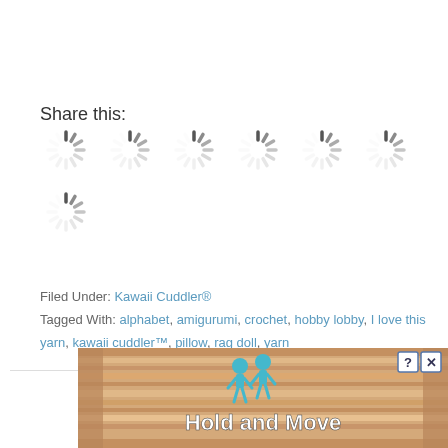Share this:
[Figure (other): Seven loading spinner icons arranged in two rows: six in the first row, one in the second row]
Filed Under: Kawaii Cuddler®
Tagged With: alphabet, amigurumi, crochet, hobby lobby, I love this yarn, kawaii cuddler™, pillow, rag doll, yarn
[Figure (screenshot): Advertisement banner showing 'Hold and Move' game with cartoon figures on a wooden background]